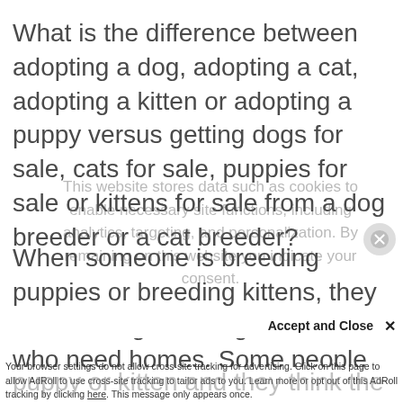What is the difference between adopting a dog, adopting a cat, adopting a kitten or adopting a puppy versus getting dogs for sale, cats for sale, puppies for sale or kittens for sale from a dog breeder or a cat breeder?
This website stores data such as cookies to enable necessary site functions, including analytics, targeting, and personalization. By remaining on this website you indicate your consent.
When someone is breeding puppies or breeding kittens, they are creating new dogs and cats who need homes. Some people are interested
Accept and Close ✕
Your browser settings do not allow cross-site tracking for advertising. Click on this page to allow AdRoll to use cross-site tracking to tailor ads to you. Learn more or opt out of this AdRoll tracking by clicking here. This message only appears once.
puppy or kitten and they think the